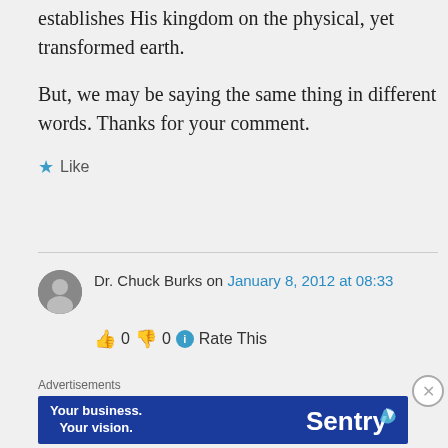establishes His kingdom on the physical, yet transformed earth.
But, we may be saying the same thing in different words. Thanks for your comment.
★ Like
Dr. Chuck Burks on January 8, 2012 at 08:33
👍 0 👎 0 ℹ Rate This
Advertisements
[Figure (other): Sentry advertisement banner: 'Your business. Your vision.' with Sentry logo on blue background]